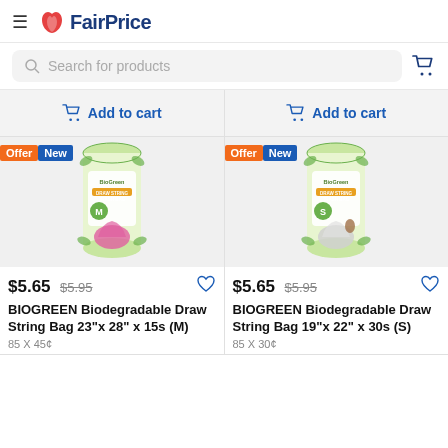FairPrice
Search for products
Add to cart
Add to cart
[Figure (photo): BIOGREEN Biodegradable Draw String Bag 23"x28" x 15s (M) product image, cylindrical roll packaging with green leaf design and pink bag]
$5.65 $5.95 BIOGREEN Biodegradable Draw String Bag 23"x28" x 15s (M)
[Figure (photo): BIOGREEN Biodegradable Draw String Bag 19"x22" x 30s (S) product image, cylindrical roll packaging with green leaf design and white/grey bag]
$5.65 $5.95 BIOGREEN Biodegradable Draw String Bag 19"x22" x 30s (S)